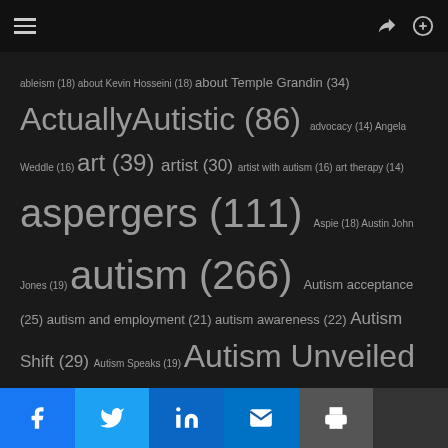Navigation header with hamburger menu, share icon, and search icon
ableism (18) about Kevin Hosseini (18) about Temple Grandin (34) ActuallyAutistic (86) advocacy (14) Angela Weddle (16) art (39) artist (30) artist with autism (16) art therapy (14) aspergers (111) Aspie (18) Austin John Jones (19) autism (266) Autism acceptance (25) autism and employment (21) autism awareness (22) Autism Shift (29) Autism Speaks (19) Autism Unveiled (90) autistic (96) autistic artist (94) autistic artists (43) autistic perspective (19) autistic poet (37) Dear Me (17) Debra Muzikar (112) inclusion (17) Jeremy Sicile-Kira (14) Keri Bowers (58) Kimberly Gerry-Tucker (37) neurodiversity (43) Nils Skudra (52) nonverbal (14) parenting (36) poetry (25) Ron...